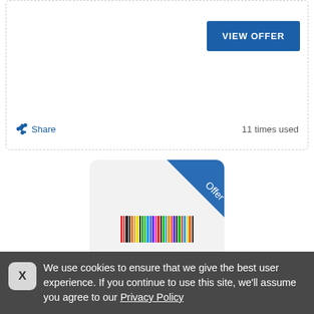on AliExpress app, in the 'invitation code' field
VIEW OFFER
Share   11 times used
[Figure (logo): Mini In The Box logo card with blue diagonal 'Offer' banner in top-right corner. Colorful barcode logo with text 'MiniInTheBox' below it, on white background with rounded corners.]
Mini In The Box coupon codes
We use cookies to ensure that we give the best user experience. If you continue to use this site, we'll assume you agree to our Privacy Policy